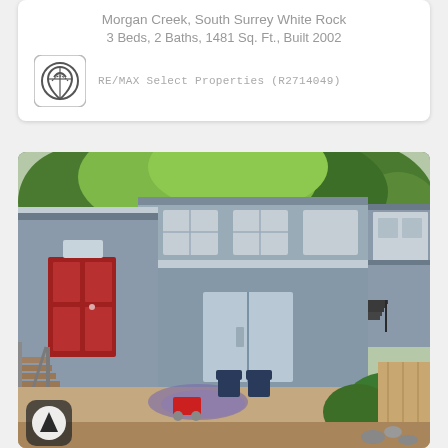Morgan Creek, South Surrey White Rock
3 Beds, 2 Baths, 1481 Sq. Ft., Built 2002
RE/MAX Select Properties (R2714049)
[Figure (photo): Exterior photo of a multi-level townhouse with gray siding, red front door, wooden stairs, sliding glass door at ground level, patio with chairs, and garden greenery.]